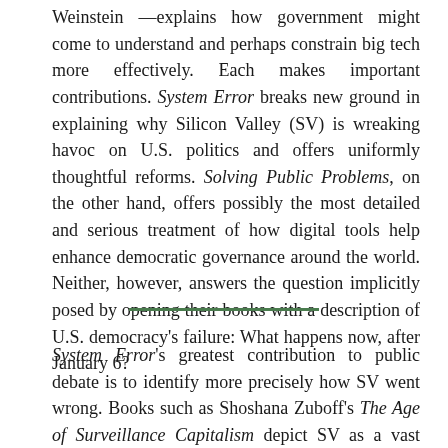Weinstein —explains how government might come to understand and perhaps constrain big tech more effectively. Each makes important contributions. System Error breaks new ground in explaining why Silicon Valley (SV) is wreaking havoc on U.S. politics and offers uniformly thoughtful reforms. Solving Public Problems, on the other hand, offers possibly the most detailed and serious treatment of how digital tools help enhance democratic governance around the world. Neither, however, answers the question implicitly posed by opening their books with a description of U.S. democracy's failure: What happens now, after January 6?
System Error's greatest contribution to public debate is to identify more precisely how SV went wrong. Books such as Shoshana Zuboff's The Age of Surveillance Capitalism depict SV as a vast devouring Moloch, perfecting the means to